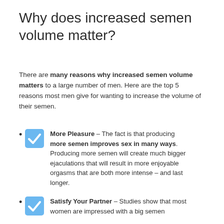Why does increased semen volume matter?
There are many reasons why increased semen volume matters to a large number of men. Here are the top 5 reasons most men give for wanting to increase the volume of their semen.
More Pleasure – The fact is that producing more semen improves sex in many ways. Producing more semen will create much bigger ejaculations that will result in more enjoyable orgasms that are both more intense – and last longer.
Satisfy Your Partner – Studies show that most women are impressed with a big semen